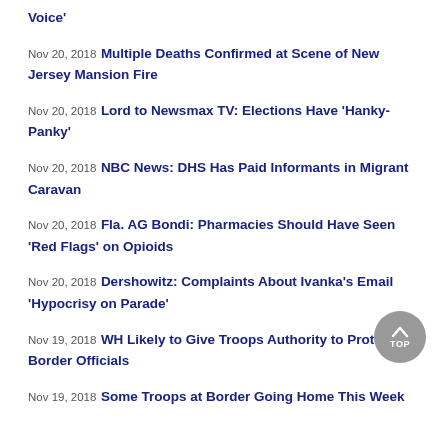Voice'
Nov 20, 2018 Multiple Deaths Confirmed at Scene of New Jersey Mansion Fire
Nov 20, 2018 Lord to Newsmax TV: Elections Have 'Hanky-Panky'
Nov 20, 2018 NBC News: DHS Has Paid Informants in Migrant Caravan
Nov 20, 2018 Fla. AG Bondi: Pharmacies Should Have Seen 'Red Flags' on Opioids
Nov 20, 2018 Dershowitz: Complaints About Ivanka's Email 'Hypocrisy on Parade'
Nov 19, 2018 WH Likely to Give Troops Authority to Protect Border Officials
Nov 19, 2018 Some Troops at Border Going Home This Week